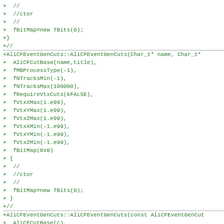+  //
+  //ctor
+  //
+  fBitMap=new TBits(0);
+}
+//
+AliCFEventGenCuts::AliCFEventGenCuts(Char_t* name, Char_t*
+  AliCFCutBase(name,title),
+  fMBProcessType(-1),
+  fNTracksMin(-1),
+  fNTracksMax(100000),
+  fRequireVtxCuts(kFALSE),
+  fVtxXMax(1.e99),
+  fVtxYMax(1.e99),
+  fVtxZMax(1.e99),
+  fVtxXMin(-1.e99),
+  fVtxYMin(-1.e99),
+  fVtxZMin(-1.e99),
+  fBitMap(0x0)
+ {
+  //
+  //ctor
+  //
+  fBitMap=new TBits(0);
+ }
+//
+AliCFEventGenCuts::AliCFEventGenCuts(const AliCFEventGenCut
+  AliCFCutBase(c),
+  fMBProcessType(c.fMBProcessType),
+  fNTracksMin(c.fNTracksMin),
+  fNTracksMax(c.fNTracksMax),
+  fRequireVtxCuts(c.fRequireVtxCuts),
+  fVtxXMax(c.fVtxXMax),